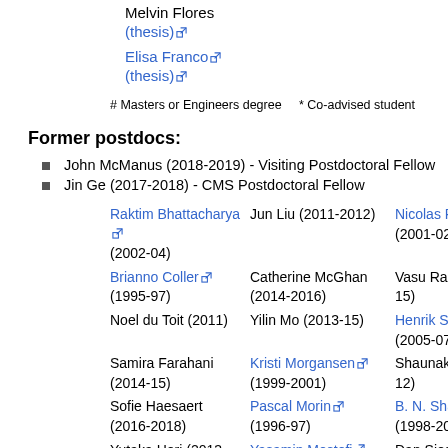Melvin Flores
(thesis)
Elisa Franco
(thesis)
# Masters or Engineers degree   * Co-advised student
Former postdocs:
John McManus (2018-2019) - Visiting Postdoctoral Fellow
Jin Ge (2017-2018) - CMS Postdoctoral Fellow
| Col1 | Col2 | Col3 |
| --- | --- | --- |
| Raktim Bhattacharya (2002-04) | Jun Liu (2011-2012) | Nicolas Petit (2001-02) |
| Brianno Coller (1995-97) | Catherine McGhan (2014-2016) | Vasu Raman (2013-15) |
| Noel du Toit (2011) | Yilin Mo (2013-15) | Henrik Sandberg (2005-07) |
| Samira Farahani (2014-15) | Kristi Morgansen (1999-2001) | Shaunak Sen (2011-12) |
| Sofie Haesaert (2016-2018) | Pascal Morin (1996-97) | B. N. Shashikanth* (1998-2000) |
| Yutaka Hori (2013-2016) | Yasamin Mostofi (2004-06) | Dan Siegal (2012- |